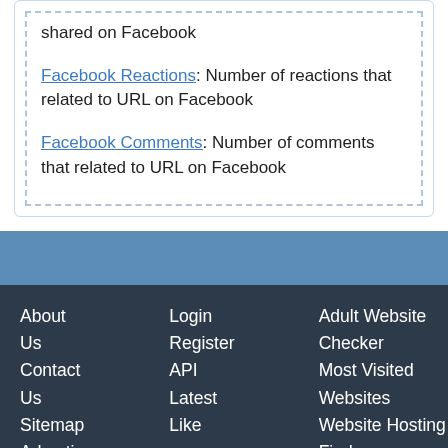shared on Facebook
Facebook Reactions: Number of reactions that related to URL on Facebook
Facebook Comments: Number of comments that related to URL on Facebook
About Us
Contact Us
Sitemap
Advertise
Domains
Login
Register
API
Latest
Like
Adult Website Checker
Most Visited Websites
Website Hosting Finder
Website Traffic